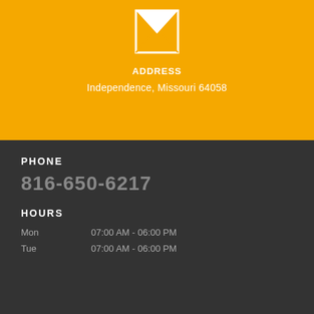[Figure (illustration): Map pin / location icon in white on yellow background]
ADDRESS
Independence, Missouri 64058
PHONE
816-650-6217
HOURS
Mon   07:00 AM - 06:00 PM
Tue   07:00 AM - 06:00 PM